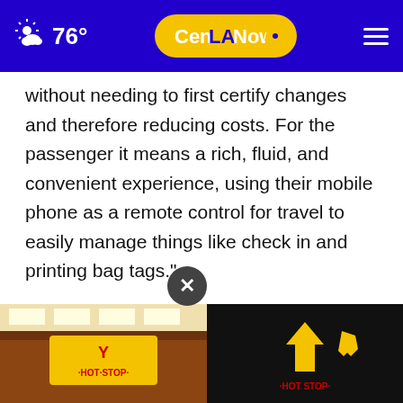76° CenLANow
without needing to first certify changes and therefore reducing costs. For the passenger it means a rich, fluid, and convenient experience, using their mobile phone as a remote control for travel to easily manage things like check in and printing bag tags."
SITA has already seen strong interest from numerous airline customers and is currently conducting proof of concept trials in airports globally
[Figure (photo): Advertisement overlay showing Y-Hot Stop store and logo images at the bottom of the page, with a close button (×)]